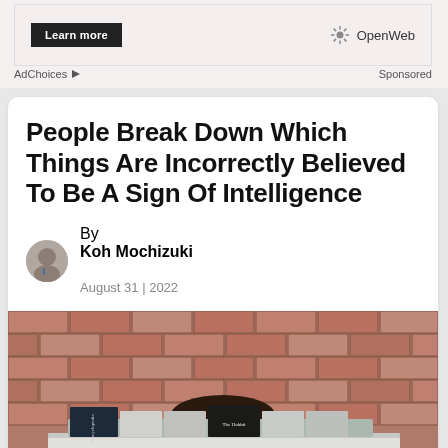[Figure (other): Advertisement banner with 'Learn more' button and OpenWeb logo]
AdChoices  Sponsored
People Break Down Which Things Are Incorrectly Believed To Be A Sign Of Intelligence
By Koh Mochizuki
August 31 | 2022
[Figure (photo): Person hiding behind a stack of books against a brick wall background, with a close button overlay]